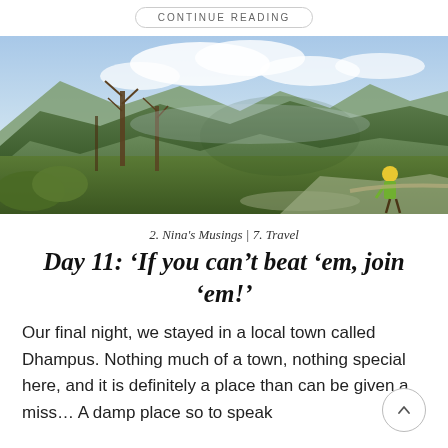CONTINUE READING
[Figure (photo): Panoramic mountain landscape photo showing green forested hills and valley with cloudy sky, a hiker in yellow shirt visible in lower right corner]
2. Nina's Musings | 7. Travel
Day 11: ‘If you can’t beat ‘em, join ‘em!’
Our final night, we stayed in a local town called Dhampus. Nothing much of a town, nothing special here, and it is definitely a place than can be given a miss… A damp place so to speak